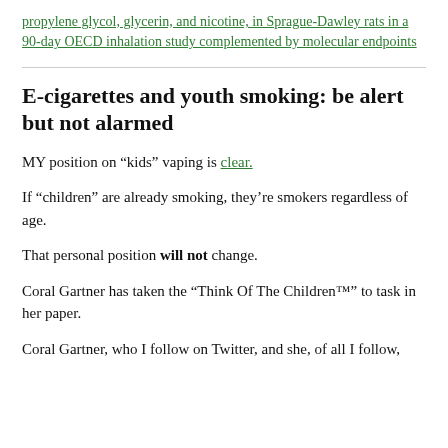propylene glycol, glycerin, and nicotine, in Sprague-Dawley rats in a 90-day OECD inhalation study complemented by molecular endpoints
E-cigarettes and youth smoking: be alert but not alarmed
MY position on “kids” vaping is clear.
If “children” are already smoking, they’re smokers regardless of age.
That personal position will not change.
Coral Gartner has taken the “Think Of The Children™” to task in her paper.
Coral Gartner, who I follow on Twitter, and she, of all I follow, is the foremost authority on the individual and public health